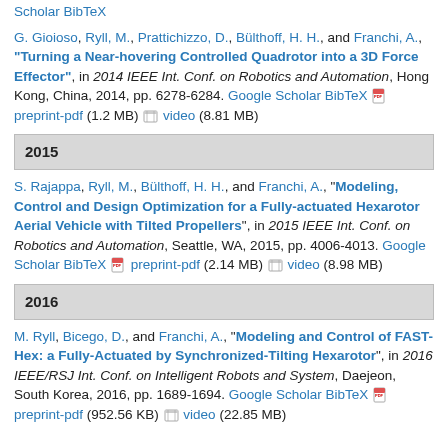Scholar BibTeX
G. Gioioso, Ryll, M., Prattichizzo, D., Bülthoff, H. H., and Franchi, A., "Turning a Near-hovering Controlled Quadrotor into a 3D Force Effector", in 2014 IEEE Int. Conf. on Robotics and Automation, Hong Kong, China, 2014, pp. 6278-6284. Google Scholar BibTeX preprint-pdf (1.2 MB) video (8.81 MB)
2015
S. Rajappa, Ryll, M., Bülthoff, H. H., and Franchi, A., "Modeling, Control and Design Optimization for a Fully-actuated Hexarotor Aerial Vehicle with Tilted Propellers", in 2015 IEEE Int. Conf. on Robotics and Automation, Seattle, WA, 2015, pp. 4006-4013. Google Scholar BibTeX preprint-pdf (2.14 MB) video (8.98 MB)
2016
M. Ryll, Bicego, D., and Franchi, A., "Modeling and Control of FAST-Hex: a Fully-Actuated by Synchronized-Tilting Hexarotor", in 2016 IEEE/RSJ Int. Conf. on Intelligent Robots and System, Daejeon, South Korea, 2016, pp. 1689-1694. Google Scholar BibTeX preprint-pdf (952.56 KB) video (22.85 MB)